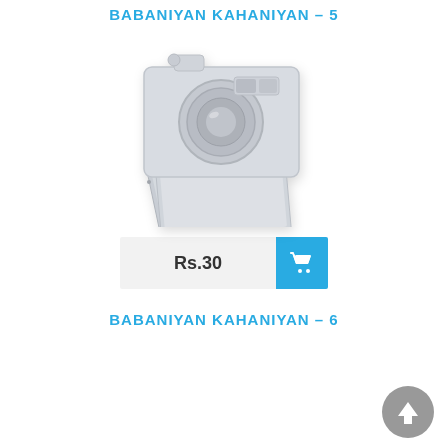BABANIYAN KAHANIYAN – 5
[Figure (illustration): Placeholder camera icon with photos — product image placeholder for book/media product]
Rs.30
BABANIYAN KAHANIYAN – 6
[Figure (illustration): Back to top circular arrow button, grey]